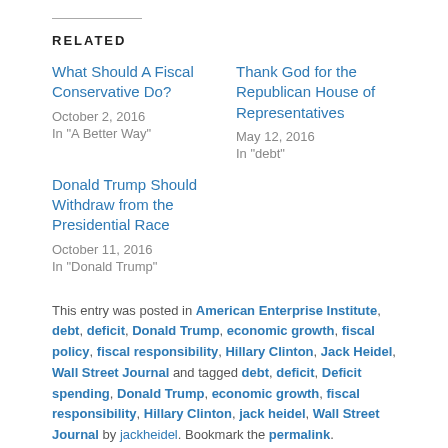RELATED
What Should A Fiscal Conservative Do?
October 2, 2016
In "A Better Way"
Thank God for the Republican House of Representatives
May 12, 2016
In "debt"
Donald Trump Should Withdraw from the Presidential Race
October 11, 2016
In "Donald Trump"
This entry was posted in American Enterprise Institute, debt, deficit, Donald Trump, economic growth, fiscal policy, fiscal responsibility, Hillary Clinton, Jack Heidel, Wall Street Journal and tagged debt, deficit, Deficit spending, Donald Trump, economic growth, fiscal responsibility, Hillary Clinton, jack heidel, Wall Street Journal by jackheidel. Bookmark the permalink.